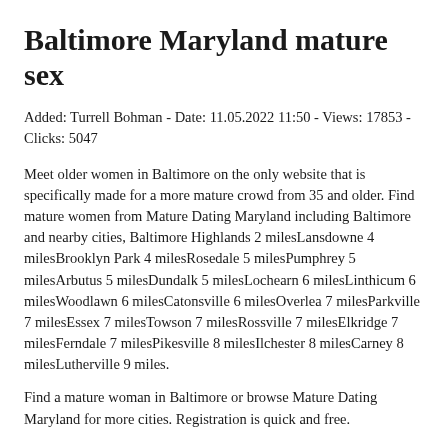Baltimore Maryland mature sex
Added: Turrell Bohman - Date: 11.05.2022 11:50 - Views: 17853 - Clicks: 5047
Meet older women in Baltimore on the only website that is specifically made for a more mature crowd from 35 and older. Find mature women from Mature Dating Maryland including Baltimore and nearby cities, Baltimore Highlands 2 milesLansdowne 4 milesBrooklyn Park 4 milesRosedale 5 milesPumphrey 5 milesArbutus 5 milesDundalk 5 milesLochearn 6 milesLinthicum 6 milesWoodlawn 6 milesCatonsville 6 milesOverlea 7 milesParkville 7 milesEssex 7 milesTowson 7 milesRossville 7 milesElkridge 7 milesFerndale 7 milesPikesville 8 milesIlchester 8 milesCarney 8 milesLutherville 9 miles.
Find a mature woman in Baltimore or browse Mature Dating Maryland for more cities. Registration is quick and free.